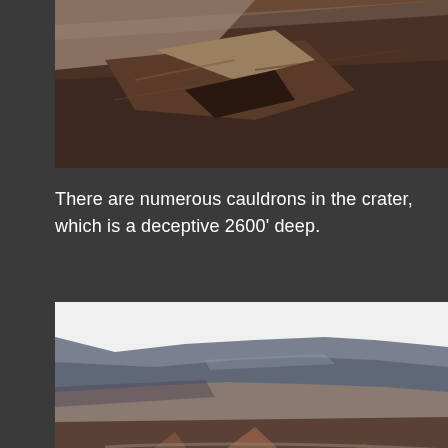[Figure (photo): Close-up aerial view of a volcanic crater showing reddish-brown rocky terrain with sandy/dusty areas, shot from above at an angle.]
There are numerous cauldrons in the crater, which is a deceptive 2600' deep.
[Figure (photo): Wide landscape view of a volcanic crater floor with cinder cones in the foreground, steep crater walls in the background, and low clouds hanging over the ridge line.]